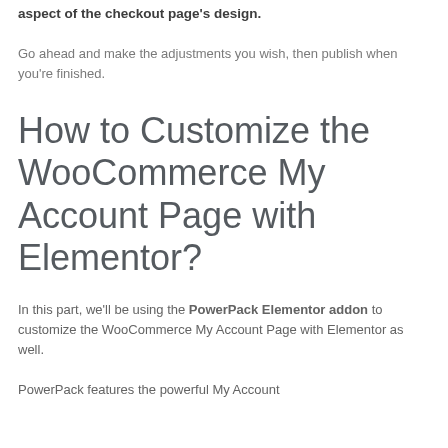aspect of the checkout page's design.
Go ahead and make the adjustments you wish, then publish when you're finished.
How to Customize the WooCommerce My Account Page with Elementor?
In this part, we'll be using the PowerPack Elementor addon to customize the WooCommerce My Account Page with Elementor as well.
PowerPack features the powerful My Account